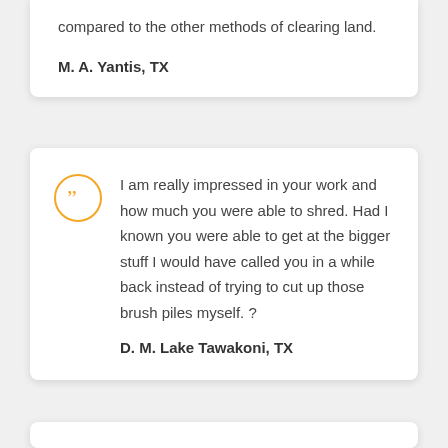compared to the other methods of clearing land.
M. A. Yantis, TX
I am really impressed in your work and how much you were able to shred. Had I known you were able to get at the bigger stuff I would have called you in a while back instead of trying to cut up those brush piles myself. ?
D. M. Lake Tawakoni, TX